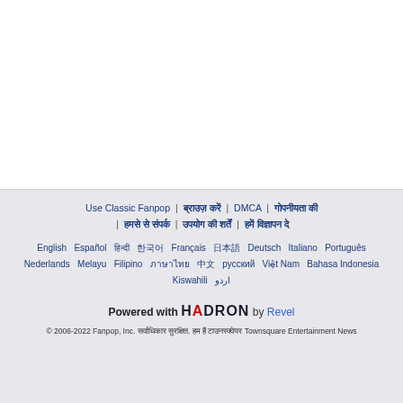Use Classic Fanpop | [nav links] | DMCA | [nav links] | [nav links] | [nav links] | [nav links]
English  Español  [languages]  Français  [languages]  Deutsch  Italiano  Português  Nederlands  Melayu  Filipino  [languages]  русский  Việt Nam  Bahasa Indonesia  Kiswahili  اردو
Powered with HADRON by Revel
© 2006-2022 Fanpop, Inc. [text] Townsquare Entertainment News